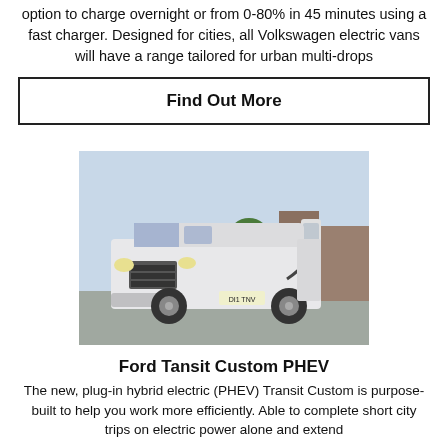option to charge overnight or from 0-80% in 45 minutes using a fast charger. Designed for cities, all Volkswagen electric vans will have a range tailored for urban multi-drops
Find Out More
[Figure (photo): Ford Transit Custom PHEV van parked at an electric vehicle charging station outdoors, silver/white color, registration DI1 TNV]
Ford Tansit Custom PHEV
The new, plug-in hybrid electric (PHEV) Transit Custom is purpose-built to help you work more efficiently. Able to complete short city trips on electric power alone and extend